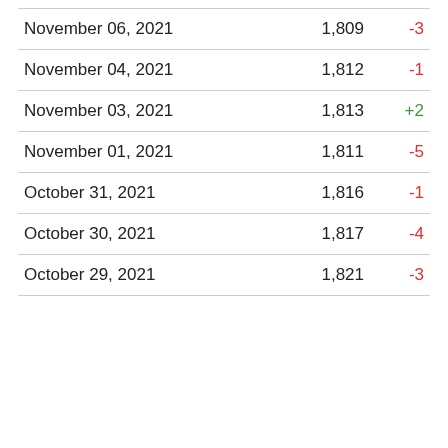| Date | Count | Change |
| --- | --- | --- |
| November 06, 2021 | 1,809 | -3 |
| November 04, 2021 | 1,812 | -1 |
| November 03, 2021 | 1,813 | +2 |
| November 01, 2021 | 1,811 | -5 |
| October 31, 2021 | 1,816 | -1 |
| October 30, 2021 | 1,817 | -4 |
| October 29, 2021 | 1,821 | -3 |